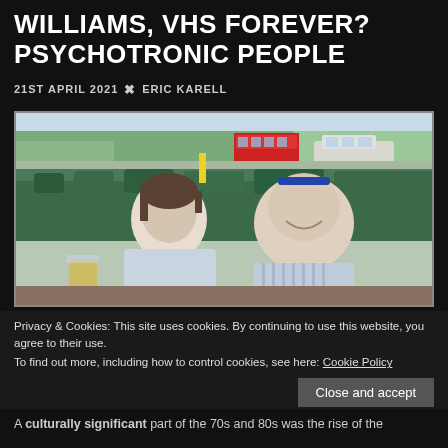WILLIAMS, VHS FOREVER? PSYCHOTRONIC PEOPLE
21ST APRIL 2021 ✖ ERIC KARELL
[Figure (photo): Two men sitting outdoors at a table in front of a hedge, with a street scene visible in the background including a red double-decker bus and cars. The man on the left has medium-length brown hair and wears a light blue polo shirt. The man on the right is bald with sunglasses on his head and wears a blue striped shirt, smiling at the camera.]
Privacy & Cookies: This site uses cookies. By continuing to use this website, you agree to their use.
To find out more, including how to control cookies, see here: Cookie Policy
Close and accept
A culturally significant part of the 70s and 80s was the rise of the